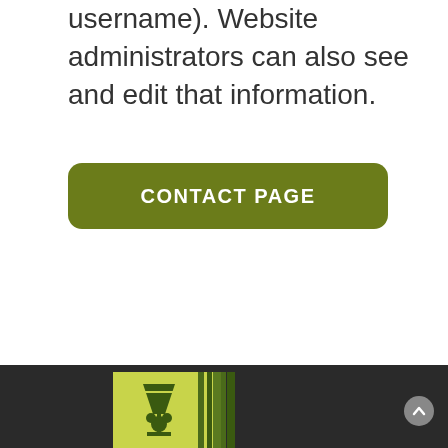username). Website administrators can also see and edit that information.
[Figure (other): Green rounded rectangle button with white uppercase text 'CONTACT PAGE']
[Figure (logo): Footer section with dark background containing a yellow-green square logo with dark green illustration of a cocktail glass with Mickey Mouse figure and bamboo/palm elements]
[Figure (other): Small circular grey scroll-to-top button with upward arrow on the right side of the footer]